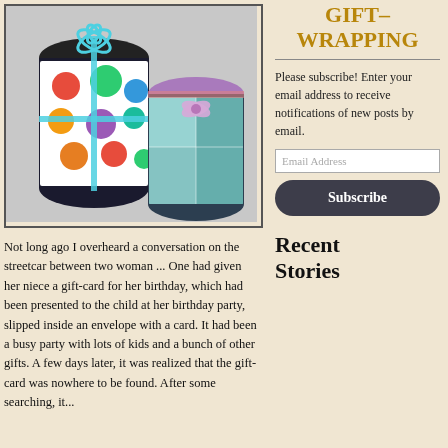[Figure (photo): Two cylindrical gift boxes wrapped in decorative paper with ribbons and bows. Left one has colorful polka dot pattern with blue ribbon, right one has teal floral pattern with purple ribbon.]
Not long ago I overheard a conversation on the streetcar between two woman ... One had given her niece a gift-card for her birthday, which had been presented to the child at her birthday party, slipped inside an envelope with a card. It had been a busy party with lots of kids and a bunch of other gifts. A few days later, it was realized that the gift-card was nowhere to be found. After some searching, it...
GIFT-WRAPPING
Please subscribe! Enter your email address to receive notifications of new posts by email.
Email Address
Subscribe
Recent Stories